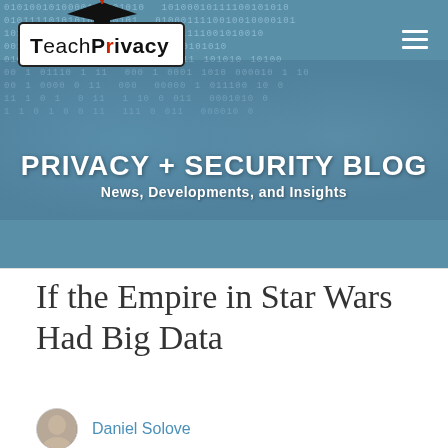[Figure (screenshot): TeachPrivacy website header banner showing binary code background with eyes visible, blog branding overlay, and navigation logo]
TEACHPRIVACY
PRIVACY + SECURITY BLOG
News, Developments, and Insights
If the Empire in Star Wars Had Big Data
Daniel Solove